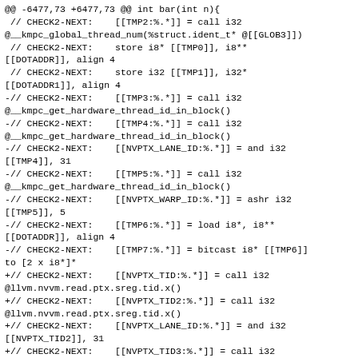@@ -6477,73 +6477,73 @@ int bar(int n){
 // CHECK2-NEXT:    [[TMP2:%.*]] = call i32
@__kmpc_global_thread_num(%struct.ident_t* @[[GLOB3]])
 // CHECK2-NEXT:    store i8* [[TMP0]], i8**
[[DOTADDR]], align 4
 // CHECK2-NEXT:    store i32 [[TMP1]], i32*
[[DOTADDR1]], align 4
-// CHECK2-NEXT:    [[TMP3:%.*]] = call i32
@__kmpc_get_hardware_thread_id_in_block()
-// CHECK2-NEXT:    [[TMP4:%.*]] = call i32
@__kmpc_get_hardware_thread_id_in_block()
-// CHECK2-NEXT:    [[NVPTX_LANE_ID:%.*]] = and i32
[[TMP4]], 31
-// CHECK2-NEXT:    [[TMP5:%.*]] = call i32
@__kmpc_get_hardware_thread_id_in_block()
-// CHECK2-NEXT:    [[NVPTX_WARP_ID:%.*]] = ashr i32
[[TMP5]], 5
-// CHECK2-NEXT:    [[TMP6:%.*]] = load i8*, i8**
[[DOTADDR]], align 4
-// CHECK2-NEXT:    [[TMP7:%.*]] = bitcast i8* [[TMP6]]
to [2 x i8*]*
+// CHECK2-NEXT:    [[NVPTX_TID:%.*]] = call i32
@llvm.nvvm.read.ptx.sreg.tid.x()
+// CHECK2-NEXT:    [[NVPTX_TID2:%.*]] = call i32
@llvm.nvvm.read.ptx.sreg.tid.x()
+// CHECK2-NEXT:    [[NVPTX_LANE_ID:%.*]] = and i32
[[NVPTX_TID2]], 31
+// CHECK2-NEXT:    [[NVPTX_TID3:%.*]] = call i32
@llvm.nvvm.read.ptx.sreg.tid.x()
+// CHECK2-NEXT:    [[NVPTX_WARP_ID:%.*]] = ashr i32
[[NVPTX_TID3]], 5